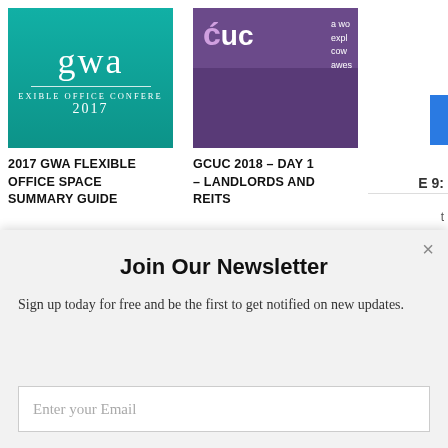[Figure (photo): GWA Flexible Office Conference 2017 teal-themed promotional image with 'gwa' text and 'FLEXIBLE OFFICE CONFERENCE 2017' subtitle]
2017 GWA FLEXIBLE OFFICE SPACE SUMMARY GUIDE
[Figure (photo): GCUC 2018 purple-themed promotional image with people and coworking text on right side]
GCUC 2018 – DAY 1 – LANDLORDS AND REITS
E 9:
[Figure (photo): Interior photo of a coworking space with wooden furniture and windows]
[Figure (logo): GCUC logo in pink/magenta and teal colors]
E 8:
Join Our Newsletter
Sign up today for free and be the first to get notified on new updates.
Enter your Email